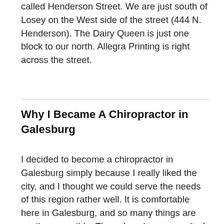called Henderson Street.  We are just south of Losey on the West side of the street (444 N. Henderson).  The Dairy Queen is just one block to our north.  Allegra Printing is right across the street.
Why I Became A Chiropractor in Galesburg
I decided to become a chiropractor in Galesburg simply because I really liked the city, and I thought we could serve the needs of this region rather well.  It is comfortable here in Galesburg, and so many things are easily accessible.  The values here are salt of the Earth, simple, and traditional.